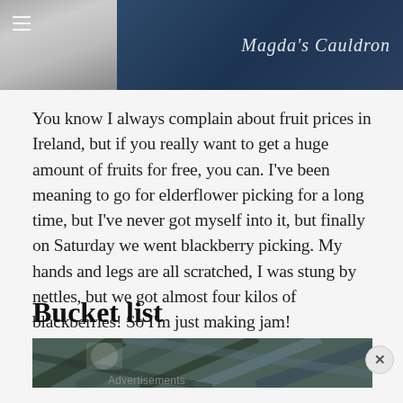[Figure (photo): Blog header image split into two parts: left side shows a grey/silver textured photo, right side shows a dark navy blue background with cursive text 'Magda's Cauldron' in white, and a hamburger menu icon on the top left.]
You know I always complain about fruit prices in Ireland, but if you really want to get a huge amount of fruits for free, you can. I've been meaning to go for elderflower picking for a long time, but I've never got myself into it, but finally on Saturday we went blackberry picking. My hands and legs are all scratched, I was stung by nettles, but we got almost four kilos of blackberries! So I'm just making jam!
Bucket list
[Figure (photo): Partially visible bottom image showing an architectural or structural scene with diagonal lines, teal and dark tones.]
Advertisements